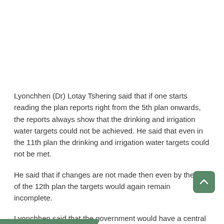Lyonchhen (Dr) Lotay Tshering said that if one starts reading the plan reports right from the 5th plan onwards, the reports always show that the drinking and irrigation water targets could not be achieved. He said that even in the 11th plan the drinking and irrigation water targets could not be met.
He said that if changes are not made then even by the end of the 12th plan the targets would again remain incomplete.
Lyonchhen said that the government would have a central coordinating agency for all water related issues as a flagship program.